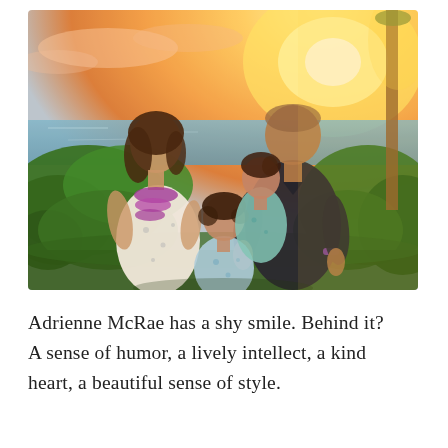[Figure (photo): Family photo of four people — a woman with long brown hair wearing a white floral dress and purple lei, a man in a dark navy v-neck t-shirt with a purple wristband, a young girl in a teal floral top, and a young boy in a light blue floral shirt — posing together outdoors near tropical greenery with an ocean and glowing golden-orange sunset sky in the background.]
Adrienne McRae has a shy smile. Behind it? A sense of humor, a lively intellect, a kind heart, a beautiful sense of style.